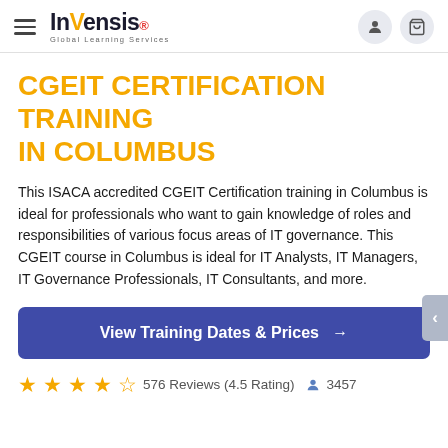Invensis Global Learning Services — navigation bar with hamburger menu, logo, user icon, and cart icon
CGEIT CERTIFICATION TRAINING IN COLUMBUS
This ISACA accredited CGEIT Certification training in Columbus is ideal for professionals who want to gain knowledge of roles and responsibilities of various focus areas of IT governance. This CGEIT course in Columbus is ideal for IT Analysts, IT Managers, IT Governance Professionals, IT Consultants, and more.
View Training Dates & Prices →
576 Reviews (4.5 Rating)  3457